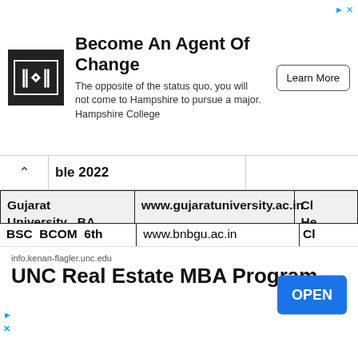[Figure (other): Advertisement banner: Hampshire College 'Become An Agent Of Change' with logo and Learn More button]
| ble 2022 |  |  |
| --- | --- | --- |
| Gujarat University BA BSC BCOM 6th SemTime Table 2022 | www.gujaratuniversity.ac.in | Cl
He |
| Gorakhpur University BA BSC BCOM 6th Sem Time... | ddugorakhpuruniversity.in | Cl
He |
[Figure (other): Advertisement banner: UNC Real Estate MBA Program from info.kenan-flagler.unc.edu with OPEN button]